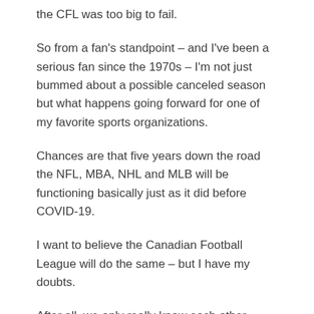the CFL was too big to fail.
So from a fan's standpoint – and I've been a serious fan since the 1970s – I'm not just bummed about a possible canceled season but what happens going forward for one of my favorite sports organizations.
Chances are that five years down the road the NFL, MBA, NHL and MLB will be functioning basically just as it did before COVID-19.
I want to believe the Canadian Football League will do the same – but I have my doubts.
After all, we only really know each other through Twitter.